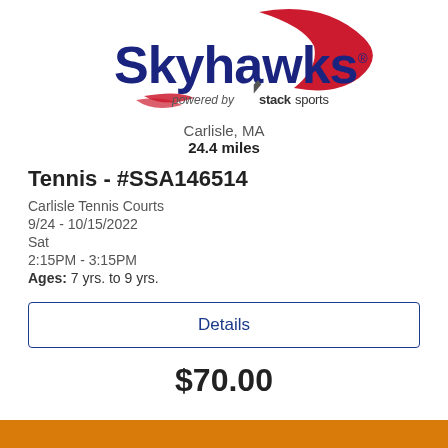[Figure (logo): Skyhawks powered by Stack Sports logo with red swoosh and dark blue bold text]
Carlisle, MA
24.4 miles
Tennis - #SSA146514
Carlisle Tennis Courts
9/24 - 10/15/2022
Sat
2:15PM - 3:15PM
Ages: 7 yrs. to 9 yrs.
Details
$70.00